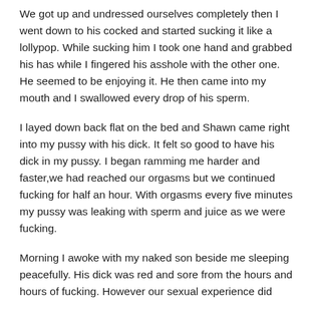We got up and undressed ourselves completely then I went down to his cocked and started sucking it like a lollypop. While sucking him I took one hand and grabbed his has while I fingered his asshole with the other one. He seemed to be enjoying it. He then came into my mouth and I swallowed every drop of his sperm.
I layed down back flat on the bed and Shawn came right into my pussy with his dick. It felt so good to have his dick in my pussy. I began ramming me harder and faster,we had reached our orgasms but we continued fucking for half an hour. With orgasms every five minutes my pussy was leaking with sperm and juice as we were fucking.
Morning I awoke with my naked son beside me sleeping peacefully. His dick was red and sore from the hours and hours of fucking. However our sexual experience did